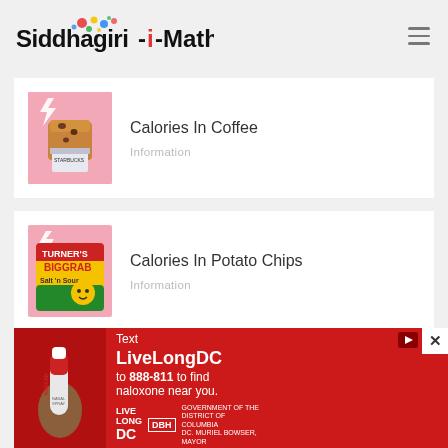Siddhagiri-Math
Calories In Coffee
Information
Calories In Potato Chips
Information
Paleo Recipes: Paleo Comfort
[Figure (advertisement): Red advertisement banner: Text LiveLongDC to 888-811 to find naloxone near you. Live Long DC DBH Government of DC logos.]